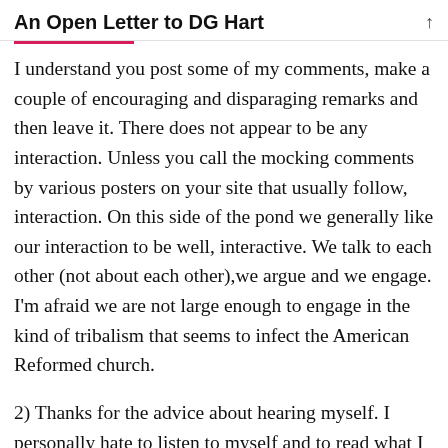An Open Letter to DG Hart
I understand you post some of my comments, make a couple of encouraging and disparaging remarks and then leave it. There does not appear to be any interaction. Unless you call the mocking comments by various posters on your site that usually follow, interaction. On this side of the pond we generally like our interaction to be well, interactive. We talk to each other (not about each other),we argue and we engage. I'm afraid we are not large enough to engage in the kind of tribalism that seems to infect the American Reformed church.
2) Thanks for the advice about hearing myself. I personally hate to listen to myself and to read what I